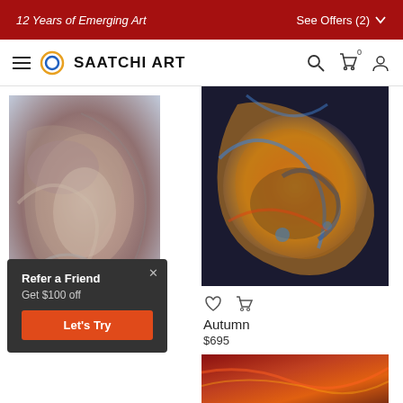12 Years of Emerging Art | See Offers (2)
SAATCHI ART
[Figure (photo): Abstract painting on left column — swirling gray, mauve, brown tones]
Refer a Friend
Get $100 off
Let's Try
$330
[Figure (photo): Abstract painting on right — vivid yellow, blue, red, brown swirling strokes (Autumn)]
Autumn
$695
[Figure (photo): Small thumbnail at bottom right — dark red/orange abstract tones]